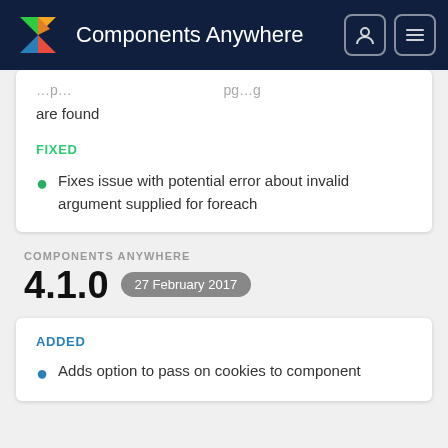Components Anywhere
are found
FIXED
Fixes issue with potential error about invalid argument supplied for foreach
COMPONENTS ANYWHERE
4.1.0   27 February 2017
ADDED
Adds option to pass on cookies to component